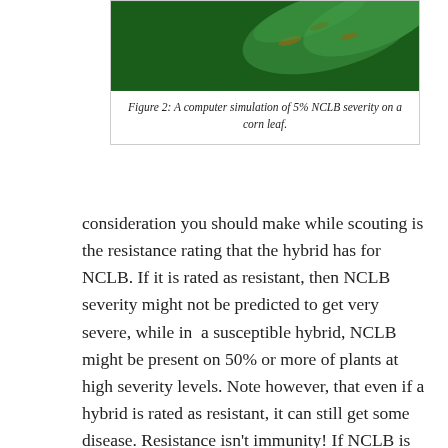[Figure (illustration): A computer simulation showing 5% NCLB severity on a corn leaf — green leaf with lesion markings visible at top portion of the figure box.]
Figure 2: A computer simulation of 5% NCLB severity on a corn leaf.
consideration you should make while scouting is the resistance rating that the hybrid has for NCLB. If it is rated as resistant, then NCLB severity might not be predicted to get very severe, while in a susceptible hybrid, NCLB might be present on 50% or more of plants at high severity levels. Note however, that even if a hybrid is rated as resistant, it can still get some disease. Resistance isn't immunity! If NCLB is present on on at least half the plants and severity is at least 5-10% and weather is forecast to be rainy and cool, a fungicide application will likely be needed to manage the disease. So what does 5% leaf severity look like? Figure 2 is a computer generated image that shows 5% of the corn leaf with NCLB lesions. You can use this image to train your brain to visually estimate how severe the disease might be on a particular leaf. As for fungicide choice and timing, I consider that further below. Incidentally, we did confirm our first NCLB lesions of the